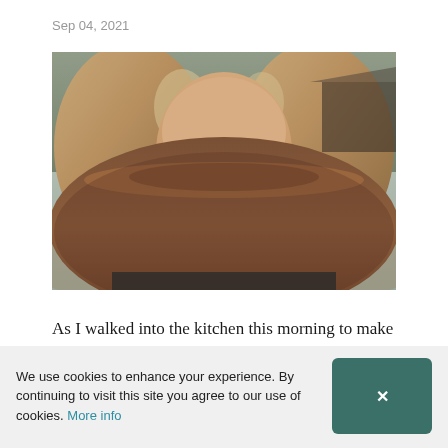Sep 04, 2021
[Figure (photo): A woman with blonde hair holding a large brown wide-brim hat up to cover the lower half of her face, revealing only her eyes and forehead. Outdoor blurred background with trees and a path.]
As I walked into the kitchen this morning to make myself a cup of tea, my cleaner put down his spray
We use cookies to enhance your experience. By continuing to visit this site you agree to our use of cookies. More info